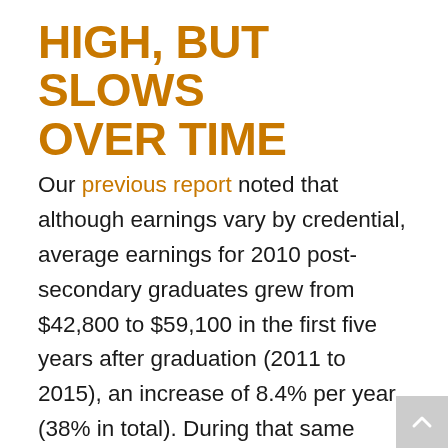HIGH, BUT SLOWS OVER TIME
Our previous report noted that although earnings vary by credential, average earnings for 2010 post-secondary graduates grew from $42,800 to $59,100 in the first five years after graduation (2011 to 2015), an increase of 8.4% per year (38% in total). During that same period, Canadians in the same general age group (22 to 28 years in 2010) with and without post-secondary